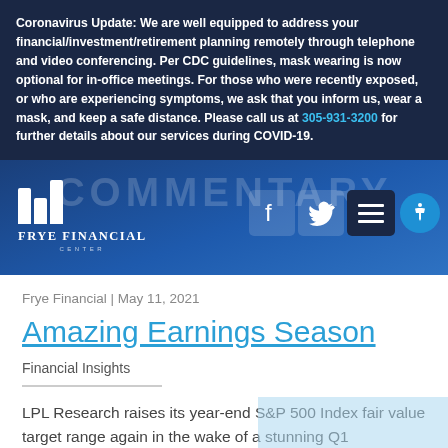Coronavirus Update: We are well equipped to address your financial/investment/retirement planning remotely through telephone and video conferencing. Per CDC guidelines, mask wearing is now optional for in-office meetings. For those who were recently exposed, or who are experiencing symptoms, we ask that you inform us, wear a mask, and keep a safe distance. Please call us at 305-931-3200 for further details about our services during COVID-19.
[Figure (logo): Frye Financial Center logo with navigation bar showing Facebook and Twitter icons, hamburger menu, and accessibility button. Background text reads COMMENTARY.]
Frye Financial | May 11, 2021
Amazing Earnings Season
Financial Insights
LPL Research raises its year-end S&P 500 Index fair value target range again in the wake of a stunning Q1